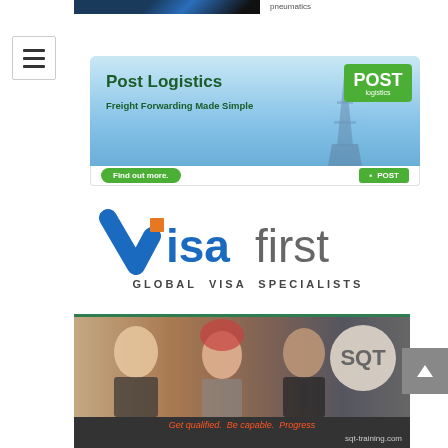[Figure (screenshot): Partial top image strip showing dark background, and the word 'pneumatics' to the right]
[Figure (logo): Hamburger/navigation menu icon (three horizontal lines) in a white box with border]
[Figure (infographic): Post Logistics advertisement banner. Blue sky background with Eiffel Tower. Text: Post Logistics, Freight Forwarding Made Simple. POST logistics logo in green box. Find out more button and POST logo on bottom bar.]
[Figure (logo): Visafirst logo with blue checkmark and orange square accent. Text: 'visa' in blue, 'first' in grey. Below: GLOBAL VISA SPECIALISTS in dark grey.]
[Figure (infographic): SQT Training advertisement. Photo of three smiling professionals. SQT circular logo. Tagline: Get qualified. Be capable. Progress. URL: sqt-training.com. Dark background with green top border.]